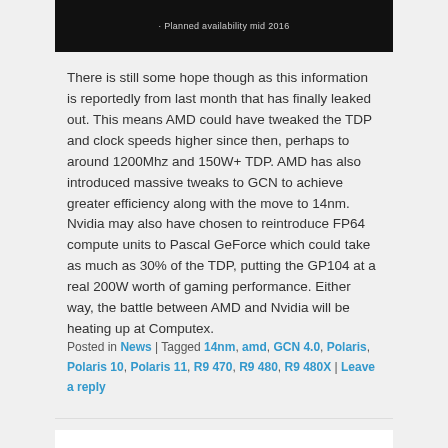[Figure (screenshot): Dark screenshot with text 'Planned availability mid 2016']
There is still some hope though as this information is reportedly from last month that has finally leaked out. This means AMD could have tweaked the TDP and clock speeds higher since then, perhaps to around 1200Mhz and 150W+ TDP. AMD has also introduced massive tweaks to GCN to achieve greater efficiency along with the move to 14nm. Nvidia may also have chosen to reintroduce FP64 compute units to Pascal GeForce which could take as much as 30% of the TDP, putting the GP104 at a real 200W worth of gaming performance. Either way, the battle between AMD and Nvidia will be heating up at Computex.
Posted in News | Tagged 14nm, amd, GCN 4.0, Polaris, Polaris 10, Polaris 11, R9 470, R9 480, R9 480X | Leave a reply